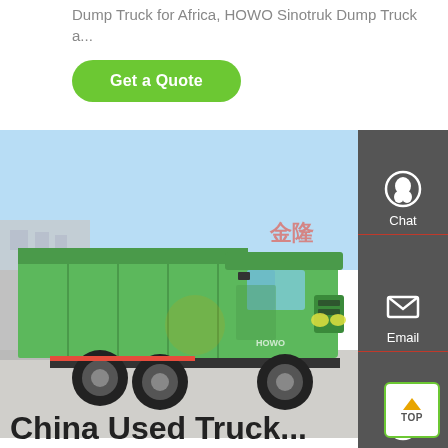Dump Truck for Africa, HOWO Sinotruk Dump Truck a...
Get a Quote
[Figure (photo): Green HOWO Sinotruk dump truck parked in a yard with industrial buildings in the background. The truck is a 6-wheel heavy dump truck painted bright green.]
China Used Truck...